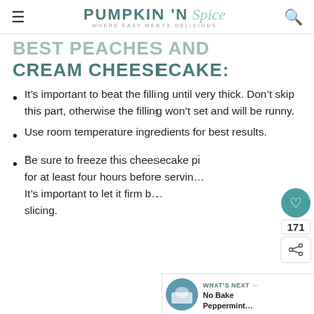PUMPKIN 'N Spice — WHERE EASY MEETS DELICIOUS
BEST PEACHES AND CREAM CHEESECAKE:
It’s important to beat the filling until very thick. Don’t skip this part, otherwise the filling won’t set and will be runny.
Use room temperature ingredients for best results.
Be sure to freeze this cheesecake pi for at least four hours before serving. It’s important to let it firm b slicing.